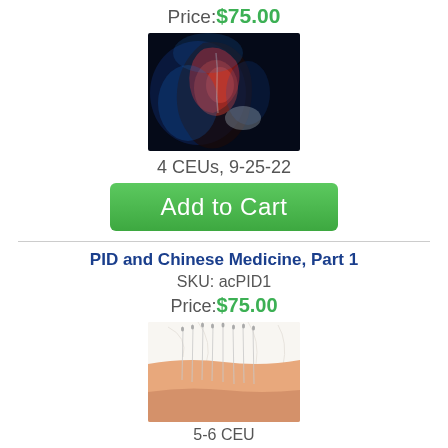Price:$75.00
[Figure (photo): Medical illustration of human neck/shoulder anatomy with glowing blue and red highlights showing muscles and bones on dark background]
4 CEUs, 9-25-22
Add to Cart
PID and Chinese Medicine, Part 1
SKU: acPID1
Price:$75.00
[Figure (photo): Close-up photo of acupuncture needles inserted into a person's lower back/skin area, showing beige skin tones and white background]
5-6 CEU